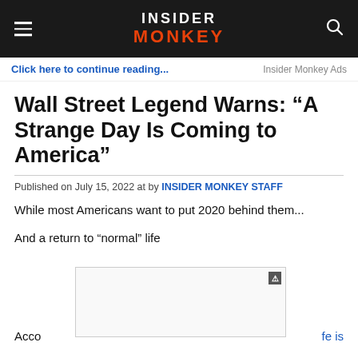INSIDER MONKEY
Click here to continue reading...	Insider Monkey Ads
Wall Street Legend Warns: “A Strange Day Is Coming to America”
Published on July 15, 2022 at by INSIDER MONKEY STAFF
While most Americans want to put 2020 behind them...
And a return to “normal” life
Acco…fe is